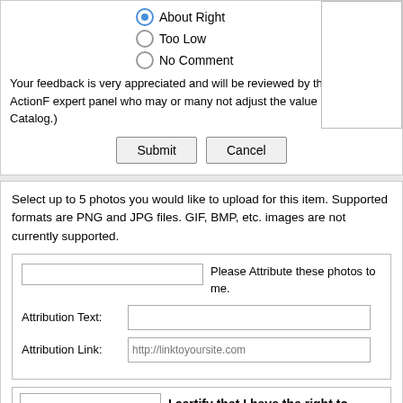About Right (selected)
Too Low
No Comment
Your feedback is very appreciated and will be reviewed by the Collector-ActionF expert panel who may or many not adjust the value ranges in the Catalog.)
Submit  Cancel
Select up to 5 photos you would like to upload for this item. Supported formats are PNG and JPG files. GIF, BMP, etc. images are not currently supported.
Please Attribute these photos to me.
Attribution Text:
Attribution Link: http://linktoyoursite.com
I certify that I have the right to